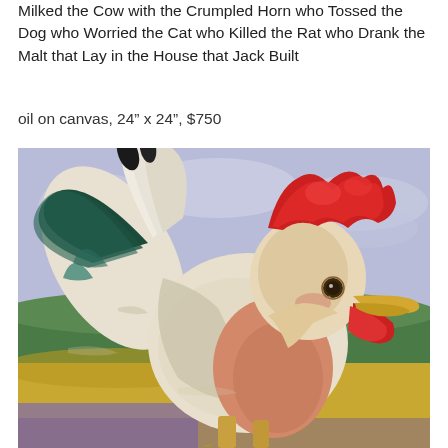Milked the Cow with the Crumpled Horn who Tossed the Dog who Worried the Cat who Killed the Rat who Drank the Malt that Lay in the House that Jack Built
oil on canvas, 24" x 24", $750
[Figure (photo): Oil painting of a rooster with a human-like face featuring a red comb/crest, white and multicolored feathers, painted in an expressionistic style with a blue-purple sky background, green hills, and yellow ground. The bird faces right with an open beak.]